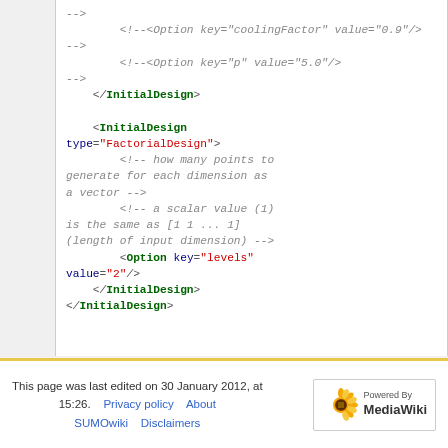-->
        <!--<Option key="coolingFactor" value="0.9"/>
-->
        <!--<Option key="p" value="5.0"/>
-->
    </InitialDesign>

    <InitialDesign type="FactorialDesign">
        <!-- how many points to generate for each dimension as a vector -->
        <!-- a scalar value (1) is the same as [1 1 ... 1] (length of input dimension) -->
        <Option key="levels" value="2"/>
    </InitialDesign>
</InitialDesign>
This page was last edited on 30 January 2012, at 15:26.    Privacy policy    About    SUMOwiki    Disclaimers